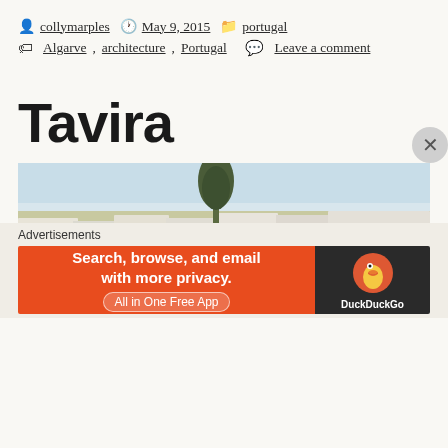collymarples  May 9, 2015  portugal
Algarve, architecture, Portugal  Leave a comment
Tavira
[Figure (photo): Aerial/rooftop view of Tavira, Portugal, showing terracotta rooftops, white buildings, and a large tree in the background against a pale sky.]
Advertisements
[Figure (screenshot): DuckDuckGo advertisement banner: orange left panel with text 'Search, browse, and email with more privacy. All in One Free App', dark right panel with DuckDuckGo duck logo and brand name.]